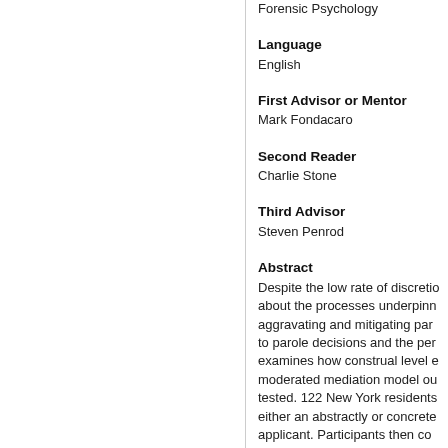Forensic Psychology
Language
English
First Advisor or Mentor
Mark Fondacaro
Second Reader
Charlie Stone
Third Advisor
Steven Penrod
Abstract
Despite the low rate of discretio... about the processes underpinn... aggravating and mitigating par... to parole decisions and the per... examines how construal level e... moderated mediation model ou... tested. 122 New York residents... either an abstractly or concrete... applicant. Participants then co... case's characteristics, whether... their preferred specific parole d...